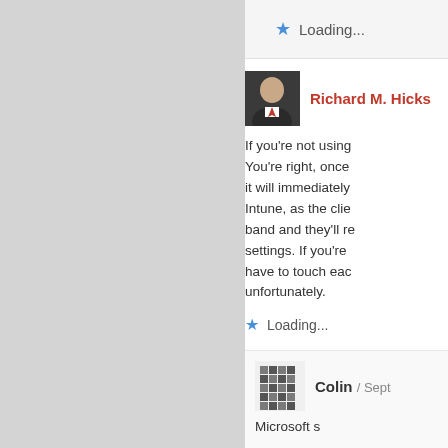Loading...
Richard M. Hicks
If you're not using You're right, once it will immediately Intune, as the clie band and they'll re settings. If you're have to touch eac unfortunately.
Loading...
Colin / Sept
Microsoft s